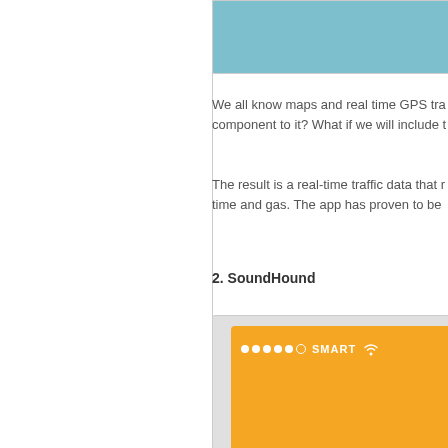[Figure (screenshot): Top portion of a mobile app screenshot with light blue/teal background, partially visible]
We all know maps and real time GPS tra... component to it? What if we will include t...
The result is a real-time traffic data that r... time and gas. The app has proven to be...
2. SoundHound
[Figure (screenshot): Mobile app screenshot with orange background showing SMART carrier name and WiFi icon in status bar]